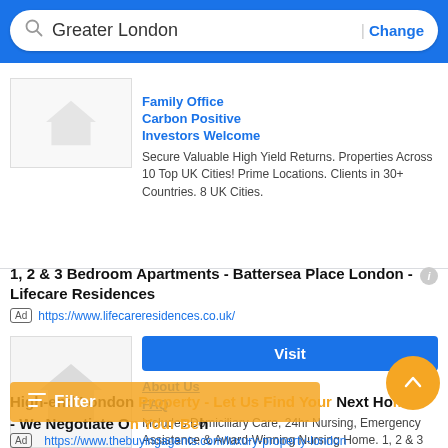Greater London | Change
Family Office
Carbon Positive
Investors Welcome
Secure Valuable High Yield Returns. Properties Across 10 Top UK Cities! Prime Locations. Clients in 30+ Countries. 8 UK Cities.
1, 2 & 3 Bedroom Apartments - Battersea Place London - Lifecare Residences
Ad https://www.lifecareresidences.co.uk/
[Figure (other): Ad image placeholder with house silhouette icon, Visit button, About Us and FAQ links]
Includes Domiciliary Care, 24hr Nursing, Emergency Assistance & Award-Winning Nursing Home. 1, 2 & 3 Bedroom Apartments. A Safe & Secure Environment
High-end London Property - Let Us Find Your Next Home - We Negotiate On Your Behalf
Ad https://www.thebuyingagents.com/luxury-property-london